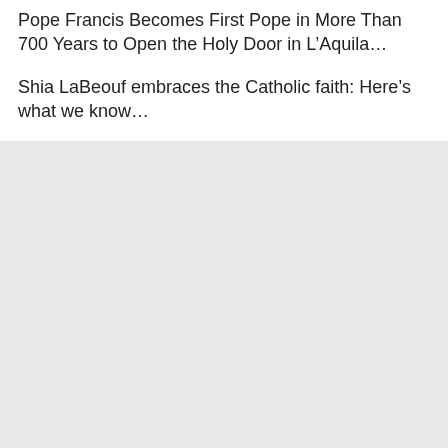Pope Francis Becomes First Pope in More Than 700 Years to Open the Holy Door in L’Aquila…
Shia LaBeouf embraces the Catholic faith: Here’s what we know…